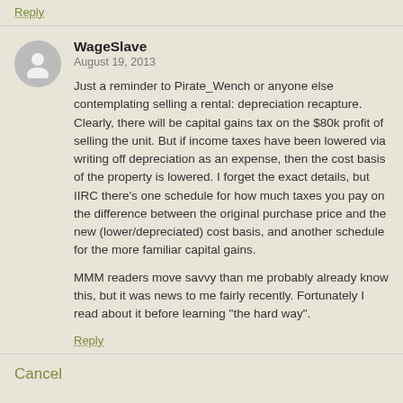Reply
WageSlave
August 19, 2013
Just a reminder to Pirate_Wench or anyone else contemplating selling a rental: depreciation recapture. Clearly, there will be capital gains tax on the $80k profit of selling the unit. But if income taxes have been lowered via writing off depreciation as an expense, then the cost basis of the property is lowered. I forget the exact details, but IIRC there's one schedule for how much taxes you pay on the difference between the original purchase price and the new (lower/depreciated) cost basis, and another schedule for the more familiar capital gains.
MMM readers move savvy than me probably already know this, but it was news to me fairly recently. Fortunately I read about it before learning "the hard way".
Reply
Cancel